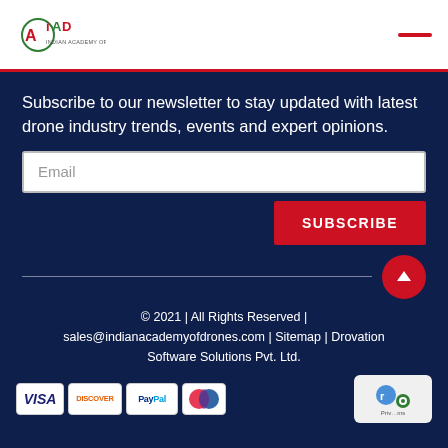IAD logo and menu bar
Subscribe to our newsletter to stay updated with latest drone industry trends, events and expert opinions.
Email
SUBSCRIBE
© 2021 | All Rights Reserved | sales@indianacademyofdrones.com | Sitemap | Drovation Software Solutions Pvt. Ltd.
[Figure (logo): Payment logos: VISA, DISCOVER, PayPal, Maestro]
[Figure (logo): Privacy / reCAPTCHA badge]